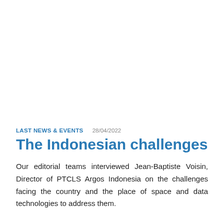LAST NEWS & EVENTS   28/04/2022
The Indonesian challenges
Our editorial teams interviewed Jean-Baptiste Voisin, Director of PTCLS Argos Indonesia on the challenges facing the country and the place of space and data technologies to address them.